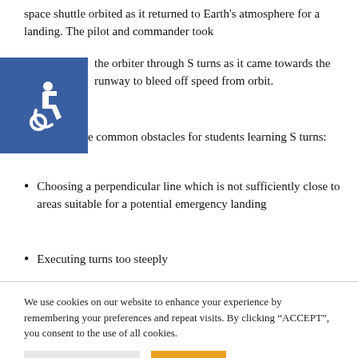space shuttle orbited as it returned to Earth's atmosphere for a landing. The pilot and commander took the orbiter through S turns as it came towards the runway to bleed off speed from orbit.
[Figure (illustration): Blue square with white wheelchair accessibility icon]
Here are some common obstacles for students learning S turns:
Choosing a perpendicular line which is not sufficiently close to areas suitable for a potential emergency landing
Executing turns too steeply
We use cookies on our website to enhance your experience by remembering your preferences and repeat visits. By clicking “ACCEPT”, you consent to the use of all cookies.
COOKIE SETTINGS   ACCEPT